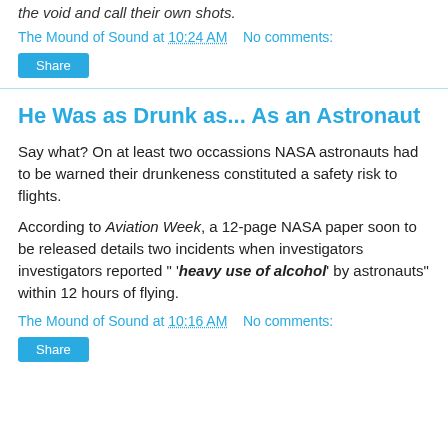the void and call their own shots.
The Mound of Sound at 10:24 AM    No comments:
Share
He Was as Drunk as... As an Astronaut
Say what? On at least two occassions NASA astronauts had to be warned their drunkeness constituted a safety risk to flights.
According to Aviation Week, a 12-page NASA paper soon to be released details two incidents when investigators investigators reported " 'heavy use of alcohol' by astronauts" within 12 hours of flying.
The Mound of Sound at 10:16 AM    No comments:
Share